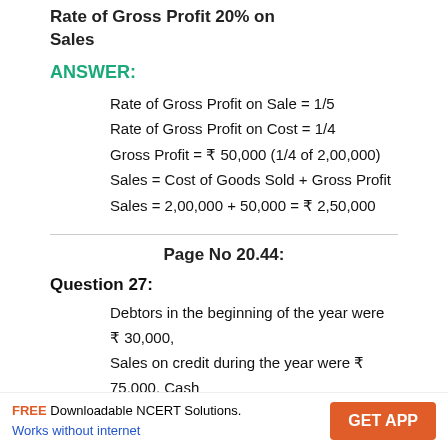Rate of Gross Profit 20% on Sales
ANSWER:
Rate of Gross Profit on Sale = 1/5
Rate of Gross Profit on Cost = 1/4
Gross Profit = ₹ 50,000 (1/4 of 2,00,000)
Sales = Cost of Goods Sold + Gross Profit
Sales = 2,00,000 + 50,000 = ₹ 2,50,000
Page No 20.44:
Question 27:
Debtors in the beginning of the year were ₹ 30,000, Sales on credit during the year were ₹ 75,000, Cash received from the Debtors during the year were ₹ 25,000
FREE Downloadable NCERT Solutions. Works without internet | GET APP